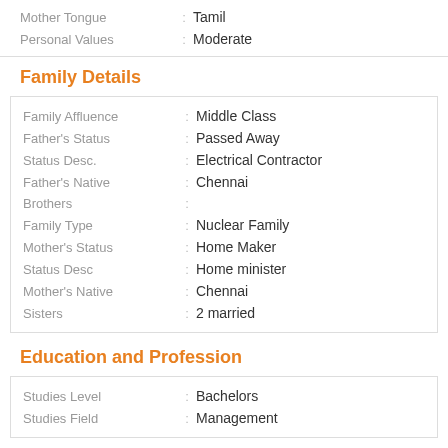Mother Tongue : Tamil
Personal Values : Moderate
Family Details
Family Affluence : Middle Class
Father's Status : Passed Away
Status Desc. : Electrical Contractor
Father's Native : Chennai
Brothers :
Family Type : Nuclear Family
Mother's Status : Home Maker
Status Desc : Home minister
Mother's Native : Chennai
Sisters : 2 married
Education and Profession
Studies Level : Bachelors
Studies Field : Management